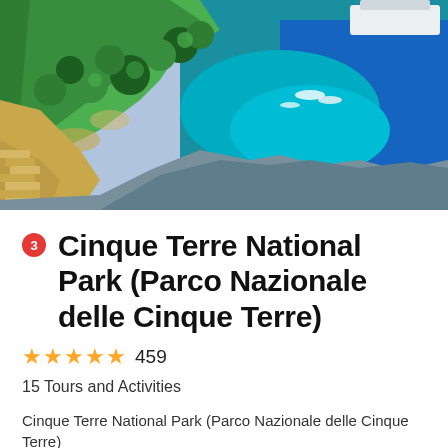[Figure (photo): Aerial/elevated view of Cinque Terre coastline showing terraced hillside with stone steps, dense green vegetation, turquoise/blue ocean water, boats, rocky shore, and a small harbor in the background.]
3 Cinque Terre National Park (Parco Nazionale delle Cinque Terre)
★★★★★ 459
15 Tours and Activities
Cinque Terre National Park (Parco Nazionale delle Cinque Terre)